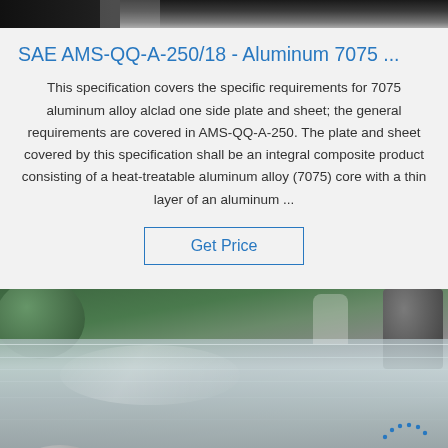[Figure (photo): Top partial image of industrial machinery or metal surface, dark gray tones]
SAE AMS-QQ-A-250/18 - Aluminum 7075 ...
This specification covers the specific requirements for 7075 aluminum alloy alclad one side plate and sheet; the general requirements are covered in AMS-QQ-A-250. The plate and sheet covered by this specification shall be an integral composite product consisting of a heat-treatable aluminum alloy (7075) core with a thin layer of an aluminum ...
Get Price
[Figure (photo): Industrial facility interior showing stacked aluminum sheets/plates on a factory floor with green equipment in background, and a TOP logo watermark in the lower right corner]